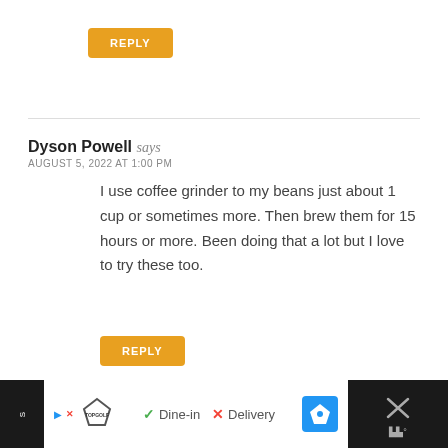REPLY
Dyson Powell says
AUGUST 5, 2022 AT 1:00 PM
I use coffee grinder to my beans just about 1 cup or sometimes more. Then brew them for 15 hours or more. Been doing that a lot but I love to try these too.
REPLY
[Figure (screenshot): Advertisement bar at the bottom showing Topgolf logo with Dine-in and Delivery options, a map/directions icon, and a close button on a dark background.]